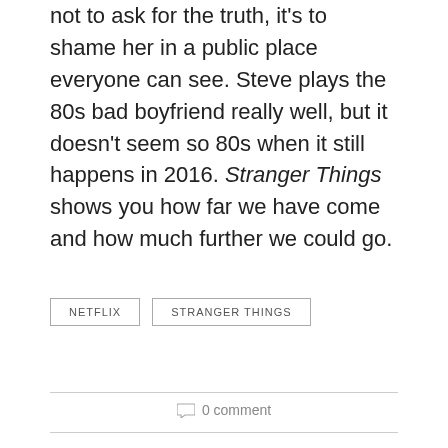not to ask for the truth, it's to shame her in a public place everyone can see. Steve plays the 80s bad boyfriend really well, but it doesn't seem so 80s when it still happens in 2016. Stranger Things shows you how far we have come and how much further we could go.
NETFLIX
STRANGER THINGS
0 comment
CHELSEA HINKOFER
Chelsea Hinkofer is a recent graduate from Virginia Commonwealth University with a